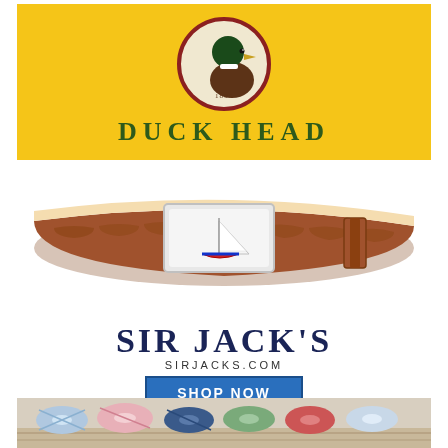[Figure (logo): Duck Head brand logo: yellow background with mallard duck head in a circular red-bordered medallion with '1865' text, and 'DUCK HEAD' text in dark green below]
[Figure (photo): Brown crocodile-texture leather belt with rectangular silver buckle featuring a sailboat logo]
SIR JACK'S
SIRJACKS.COM
SHOP NOW
[Figure (photo): Assorted plaid and gingham children's bow ties arranged on a wooden surface]